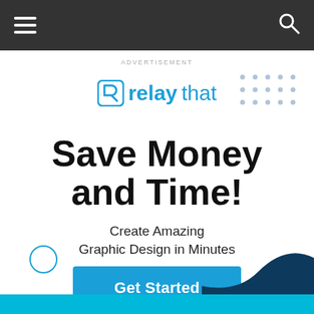Navigation bar with hamburger menu and search icon
ADVERTISEMENT
[Figure (logo): RelayThat logo with stylized R icon, blue text reading 'relay' bold and 'that' regular weight]
Save Money and Time!
Create Amazing Graphic Design in Minutes
Get Started